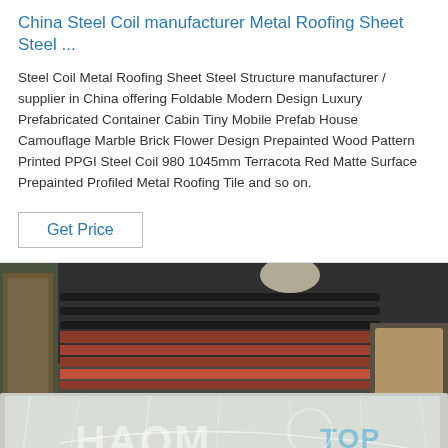China Steel Coil manufacturer Metal Roofing Sheet Steel ...
Steel Coil Metal Roofing Sheet Steel Structure manufacturer / supplier in China offering Foldable Modern Design Luxury Prefabricated Container Cabin Tiny Mobile Prefab House Camouflage Marble Brick Flower Design Prepainted Wood Pattern Printed PPGI Steel Coil 980 1045mm Terracota Red Matte Surface Prepainted Profiled Metal Roofing Tile and so on.
Get Price
[Figure (photo): Manufacturing facility photo showing steel coil processing machinery with metal sheets on a conveyor/roller system, and a wrapped product in white plastic in the foreground. A watermark reading 'HAQM TOP' is visible on the image.]